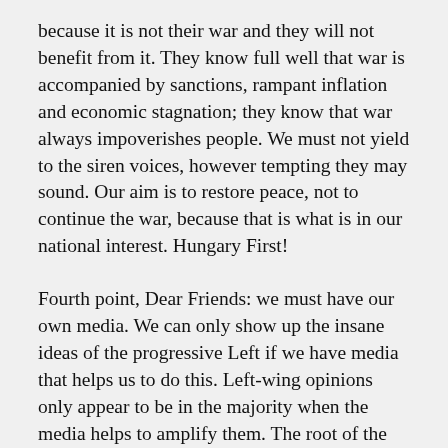because it is not their war and they will not benefit from it. They know full well that war is accompanied by sanctions, rampant inflation and economic stagnation; they know that war always impoverishes people. We must not yield to the siren voices, however tempting they may sound. Our aim is to restore peace, not to continue the war, because that is what is in our national interest. Hungary First!
Fourth point, Dear Friends: we must have our own media. We can only show up the insane ideas of the progressive Left if we have media that helps us to do this. Left-wing opinions only appear to be in the majority when the media helps to amplify them. The root of the problem